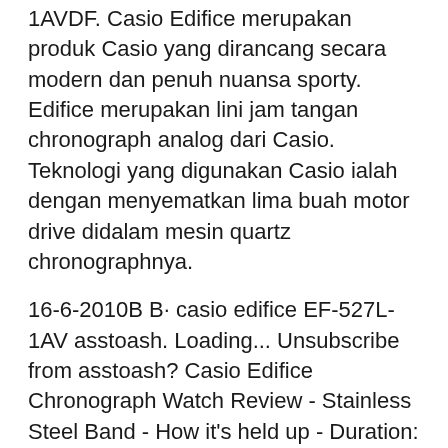1AVDF. Casio Edifice merupakan produk Casio yang dirancang secara modern dan penuh nuansa sporty. Edifice merupakan lini jam tangan chronograph analog dari Casio. Teknologi yang digunakan Casio ialah dengan menyematkan lima buah motor drive didalam mesin quartz chronographnya.
16-6-2010B B· casio edifice EF-527L-1AV asstoash. Loading... Unsubscribe from asstoash? Casio Edifice Chronograph Watch Review - Stainless Steel Band - How it's held up - Duration: 12:01. Inspired by aviation this classic yet durable edifice timepiece features a built in slide rule function for flight route, speed and fuel consumption